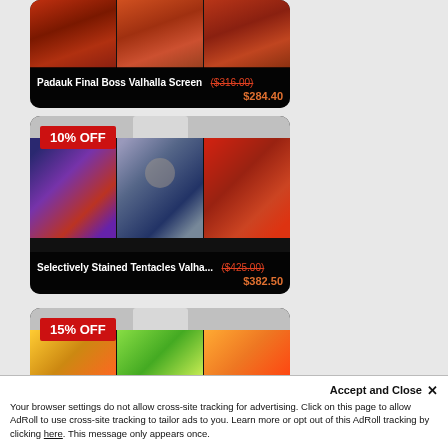[Figure (photo): Product card: Padauk Final Boss Valhalla Screen with red/orange wood grain images. Price shown as ($316.00) struck through and $284.40.]
[Figure (photo): Product card with 10% OFF badge: Selectively Stained Tentacles Valha... with Cthulhu-like artwork panels in blue/purple/red. Price shown as ($425.00) struck through and $382.50.]
[Figure (photo): Product card with 15% OFF badge: Dragon/creature themed artwork panels in yellow/green/orange. Partially visible.]
Accept and Close ✕
Your browser settings do not allow cross-site tracking for advertising. Click on this page to allow AdRoll to use cross-site tracking to tailor ads to you. Learn more or opt out of this AdRoll tracking by clicking here. This message only appears once.